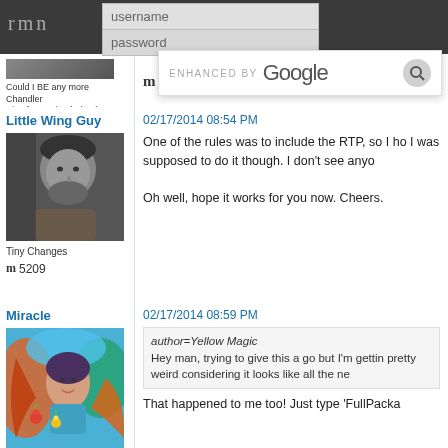rmn — username / password login form, Recover Password, ENHANCED BY Google search bar
[Figure (screenshot): RMN website header with dark background, rmn logo, username and password input fields, Recover Password link, and Enhanced by Google search bar overlay]
Could I BE any more Chandler Bing from Friends (TM)?
m 3154
Little Wing Guy
[Figure (photo): Black and white portrait photo of a man with beard looking sideways]
Tiny Changes
m 5209
02/17/2014 08:54 PM
One of the rules was to include the RTP, so I ho I was supposed to do it though. I don't see anyo

Oh well, hope it works for you now. Cheers.
Miracle
[Figure (illustration): Colorful illustrated avatar showing a girl with fantasy creatures]
02/17/2014 08:59 PM
author=Yellow Magic
Hey man, trying to give this a go but I'm gettin pretty weird considering it looks like all the ne
That happened to me too! Just type 'FullPacka